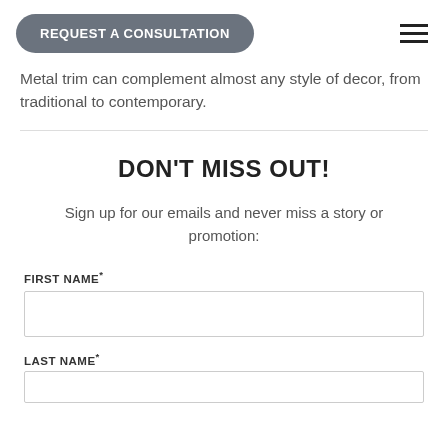REQUEST A CONSULTATION
Metal trim can complement almost any style of decor, from traditional to contemporary.
DON'T MISS OUT!
Sign up for our emails and never miss a story or promotion:
FIRST NAME*
LAST NAME*